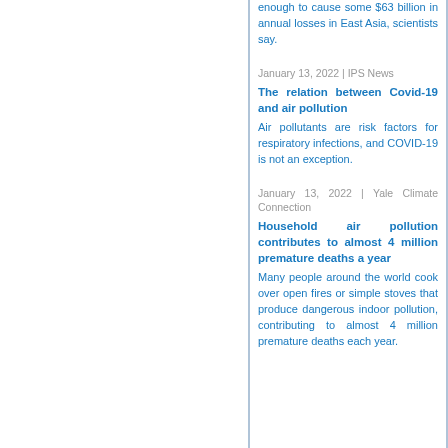enough to cause some $63 billion in annual losses in East Asia, scientists say.
January 13, 2022 | IPS News
The relation between Covid-19 and air pollution
Air pollutants are risk factors for respiratory infections, and COVID-19 is not an exception.
January 13, 2022 | Yale Climate Connection
Household air pollution contributes to almost 4 million premature deaths a year
Many people around the world cook over open fires or simple stoves that produce dangerous indoor pollution, contributing to almost 4 million premature deaths each year.